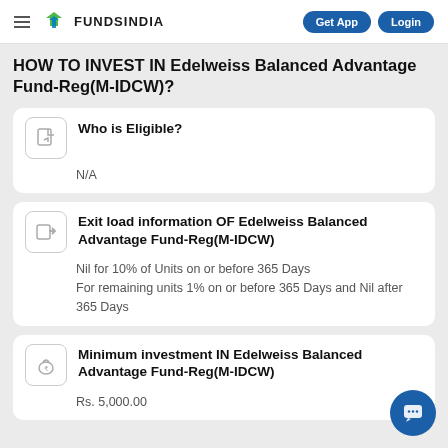FUNDSINDIA | Get App | Login
HOW TO INVEST IN Edelweiss Balanced Advantage Fund-Reg(M-IDCW)?
Who is Eligible?
N/A
Exit load information OF Edelweiss Balanced Advantage Fund-Reg(M-IDCW)
Nil for 10% of Units on or before 365 Days
For remaining units 1% on or before 365 Days and Nil after 365 Days
Minimum investment IN Edelweiss Balanced Advantage Fund-Reg(M-IDCW)
Rs. 5,000.00